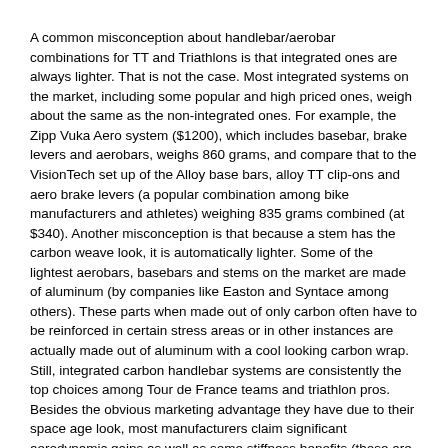A common misconception about handlebar/aerobar combinations for TT and Triathlons is that integrated ones are always lighter. That is not the case. Most integrated systems on the market, including some popular and high priced ones, weigh about the same as the non-integrated ones. For example, the Zipp Vuka Aero system ($1200), which includes basebar, brake levers and aerobars, weighs 860 grams, and compare that to the VisionTech set up of the Alloy base bars, alloy TT clip-ons and aero brake levers (a popular combination among bike manufacturers and athletes) weighing 835 grams combined (at $340). Another misconception is that because a stem has the carbon weave look, it is automatically lighter. Some of the lightest aerobars, basebars and stems on the market are made of aluminum (by companies like Easton and Syntace among others). These parts when made out of only carbon often have to be reinforced in certain stress areas or in other instances are actually made out of aluminum with a cool looking carbon wrap. Still, integrated carbon handlebar systems are consistently the top choices among Tour de France teams and triathlon pros. Besides the obvious marketing advantage they have due to their space age look, most manufacturers claim significant aerodynamic gains as well as some stiffness benefits (those are the main selling points of Zipp's Vuka Aerobars mentioned above). As a result, if you're looking at taking this route and don't mind spending some bucks, check out the HED Black Dog Aerobars, which at 630 grams and $900 is a remarkable handlebar system.
Integrated bars used to include mostly base bars, aerobars and stem. Most manufacturers have stopped including the stem and have added the brake lever. Not including the stem is a sensible thing, since that is so dependent on the fit and the rest of the bike. Besides the length issue there is the rise issue and to accommodate all the possible combinations in an integrated handlebar